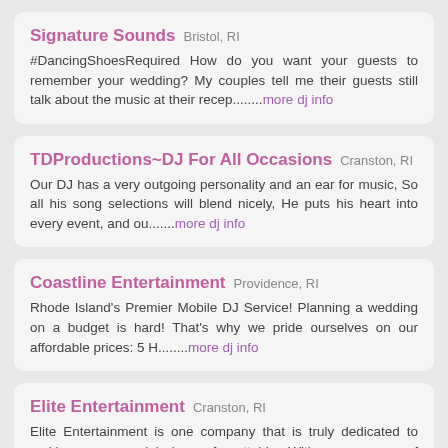Signature Sounds  Bristol, RI
#DancingShoesRequired How do you want your guests to remember your wedding? My couples tell me their guests still talk about the music at their recep........more dj info
TDProductions~DJ For All Occasions  Cranston, RI
Our DJ has a very outgoing personality and an ear for music, So all his song selections will blend nicely, He puts his heart into every event, and ou.......more dj info
Coastline Entertainment  Providence, RI
Rhode Island's Premier Mobile DJ Service! Planning a wedding on a budget is hard! That's why we pride ourselves on our affordable prices: 5 H........more dj info
Elite Entertainment  Cranston, RI
Elite Entertainment is one company that is truly dedicated to making your special day unforgettable. With many years of experience and